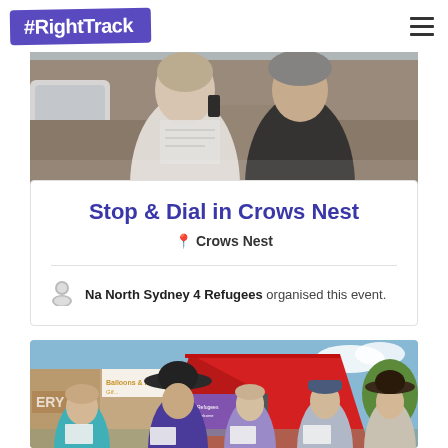#RightTrack
[Figure (photo): Two women at an outdoor event, one talking on a phone and holding papers, the other holding a bag; street scene background]
Stop & Dial in Crows Nest
Crows Nest
Na North Sydney 4 Refugees organised this event.
[Figure (photo): Five people standing outdoors at a market event in front of a red tent, each holding papers; one wears a large brimmed hat, another wears a blue hat; shopfronts visible in background]